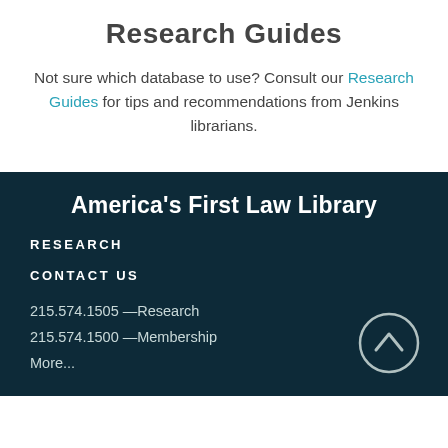Research Guides
Not sure which database to use? Consult our Research Guides for tips and recommendations from Jenkins librarians.
America's First Law Library
RESEARCH
CONTACT US
215.574.1505 —Research
215.574.1500 —Membership
More...